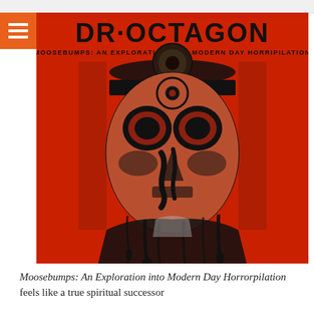[Figure (illustration): Album cover for Dr. Octagon - Moosebumps: An Exploration into Modern Day Horripilation. Red and black illustration of a robotic/alien humanoid face wearing a doctor's head mirror, with dripping black ink effects on a vivid red background. Text reads 'DR·OCTAGON' at top and 'MOOSEBUMPS: AN EXPLORATION INTO MODERN DAY HORRIPILATION' in smaller text below the title.]
Moosebumps: An Exploration into Modern Day Horrorpilation feels like a true spiritual successor